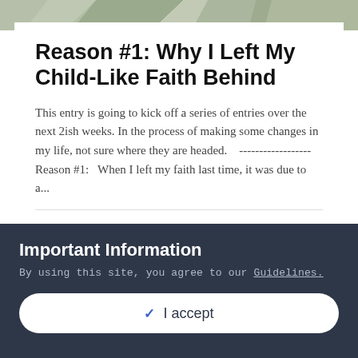[Figure (illustration): Geometric polygon/faceted background banner in muted green and grey tones at top of page]
Reason #1: Why I Left My Child-Like Faith Behind
This entry is going to kick off a series of entries over the next 2ish weeks. In the process of making some changes in my life, not sure where they are headed.   ------------------  Reason #1:   When I left my faith last time, it was due to a...
seven77
October 16, 2014
[Figure (illustration): Geometric polygon/faceted background banner in muted green and grey tones in the middle of page]
Important Information
By using this site, you agree to our Guidelines.
✓  I accept